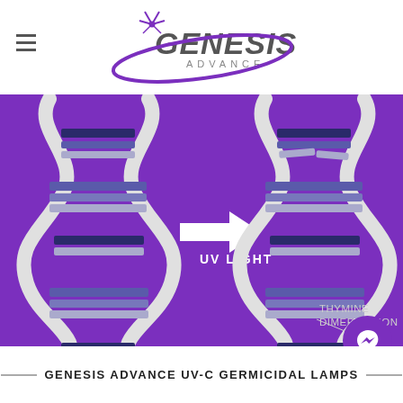Genesis Advance (logo)
[Figure (illustration): Purple background infographic showing UV-C light effect on DNA. Left: normal DNA double helix. Center: white arrow pointing right with 'UV LIGHT' label below. Right: damaged DNA double helix with thymine dimerization annotation labeled 'Thymine Dimerization'.]
GENESIS ADVANCE UV-C GERMICIDAL LAMPS